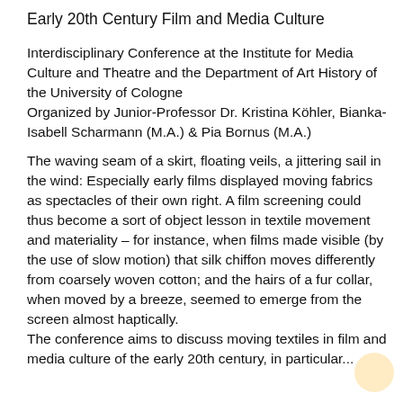Early 20th Century Film and Media Culture
Interdisciplinary Conference at the Institute for Media Culture and Theatre and the Department of Art History of the University of Cologne
Organized by Junior-Professor Dr. Kristina Köhler, Bianka-Isabell Scharmann (M.A.) & Pia Bornus (M.A.)
The waving seam of a skirt, floating veils, a jittering sail in the wind: Especially early films displayed moving fabrics as spectacles of their own right. A film screening could thus become a sort of object lesson in textile movement and materiality – for instance, when films made visible (by the use of slow motion) that silk chiffon moves differently from coarsely woven cotton; and the hairs of a fur collar, when moved by a breeze, seemed to emerge from the screen almost haptically.
The conference aims to discuss moving textiles in film and media culture of the early 20th century, in particular...